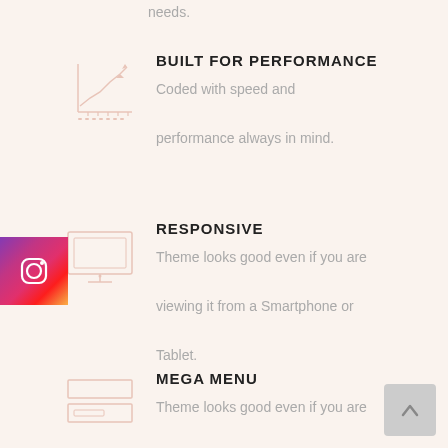needs.
[Figure (illustration): Line chart icon with upward trending arrow on axis grid]
BUILT FOR PERFORMANCE
Coded with speed and performance always in mind.
[Figure (illustration): Monitor/screen icon with outline rectangle]
RESPONSIVE
Theme looks good even if you are viewing it from a Smartphone or Tablet.
[Figure (logo): Instagram logo icon with gradient background (purple to orange)]
[Figure (illustration): Mega menu icon with stacked rectangle outlines]
MEGA MENU
Theme looks good even if you are viewing it from a Smartphone or
[Figure (other): Scroll-to-top button with upward arrow, grey background]